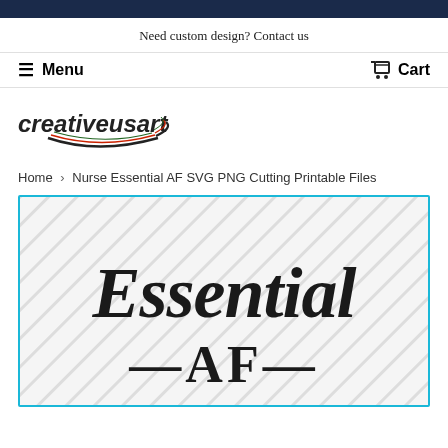Need custom design? Contact us
Menu
Cart
[Figure (logo): creativeusart logo with italic text and swoosh graphic in black, red, and green]
Home › Nurse Essential AF SVG PNG Cutting Printable Files
[Figure (illustration): Product image showing 'Essential AF' text design with diagonal stripe background, surrounded by a cyan/teal border. Cursive 'Essential' text above serif 'AF' with decorative dashes.]